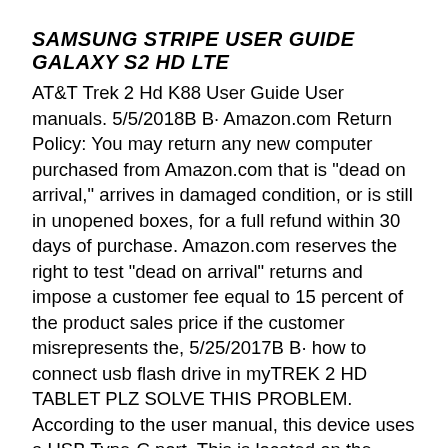SAMSUNG STRIPE USER GUIDE GALAXY S2 HD LTE
AT&T Trek 2 Hd K88 User Guide User manuals. 5/5/2018B B· Amazon.com Return Policy: You may return any new computer purchased from Amazon.com that is "dead on arrival," arrives in damaged condition, or is still in unopened boxes, for a full refund within 30 days of purchase. Amazon.com reserves the right to test "dead on arrival" returns and impose a customer fee equal to 15 percent of the product sales price if the customer misrepresents the, 5/25/2017B B· how to connect usb flash drive in myTREK 2 HD TABLET PLZ SOLVE THIS PROBLEM. According to the user manual, this device uses a USB Type-C port. This is located on the bottom of the device, near the left corner. *I am an AT&T